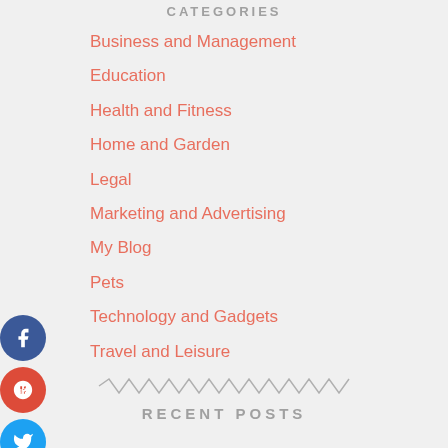CATEGORIES
Business and Management
Education
Health and Fitness
Home and Garden
Legal
Marketing and Advertising
My Blog
Pets
Technology and Gadgets
Travel and Leisure
[Figure (other): Zigzag decorative divider line]
RECENT POSTS